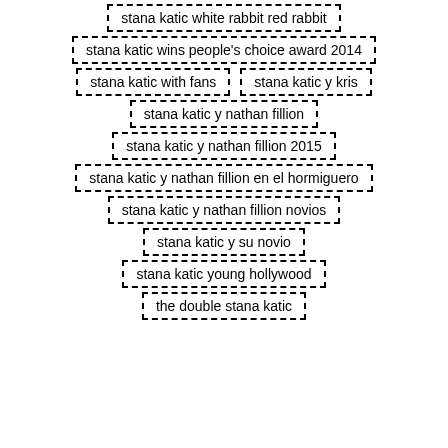stana katic white rabbit red rabbit
stana katic wins people's choice award 2014
stana katic with fans
stana katic y kris
stana katic y nathan fillion
stana katic y nathan fillion 2015
stana katic y nathan fillion en el hormiguero
stana katic y nathan fillion novios
stana katic y su novio
stana katic young hollywood
the double stana katic